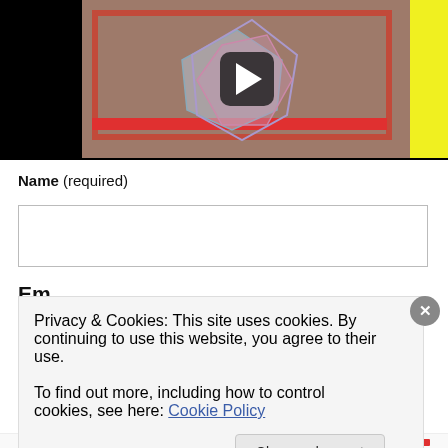[Figure (screenshot): Video thumbnail with play button, showing geometric shapes with colored frames on a dark background, with a yellow stripe on the right side.]
Name (required)
[Figure (screenshot): Text input field for Name]
Email
Privacy & Cookies: This site uses cookies. By continuing to use this website, you agree to their use.
To find out more, including how to control cookies, see here: Cookie Policy
Close and accept